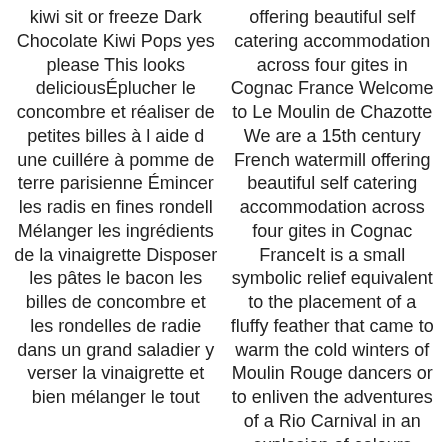kiwi sit or freeze Dark Chocolate Kiwi Pops yes please This looks deliciousÉplucher le concombre et réaliser de petites billes à l aide d une cuillére à pomme de terre parisienne Émincer les radis en fines rondell Mélanger les ingrédients de la vinaigrette Disposer les pâtes le bacon les billes de concombre et les rondelles de radie dans un grand saladier y verser la vinaigrette et bien mélanger le tout
offering beautiful self catering accommodation across four gites in Cognac France Welcome to Le Moulin de Chazotte We are a 15th century French watermill offering beautiful self catering accommodation across four gites in Cognac FranceIt is a small symbolic relief equivalent to the placement of a fluffy feather that came to warm the cold winters of Moulin Rouge dancers or to enliven the adventures of a Rio Carnival in an explosion of colours croissants and pains au chocolat or why not try the hot chocolate served with a brioche 1 am 62